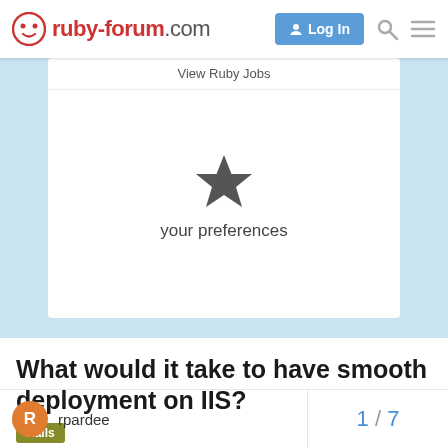ruby-forum.com — Log In
View Ruby Jobs
[Figure (illustration): A star icon representing user preferences]
your preferences
What would it take to have smooth deployment on IIS?
Rails
rpardee
1 / 7